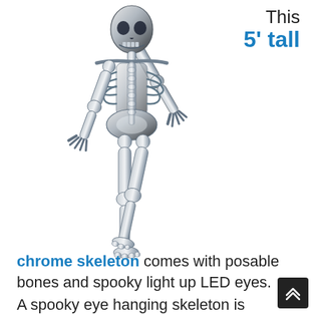[Figure (illustration): A chrome/metallic skeleton approximately 5 feet tall, shown in a dynamic pose with one arm raised upward and legs in a walking/jumping stance. The skeleton has a reflective chrome finish.]
This 5' tall
chrome skeleton comes with posable bones and spooky light up LED eyes.
A spooky eye hanging skeleton is